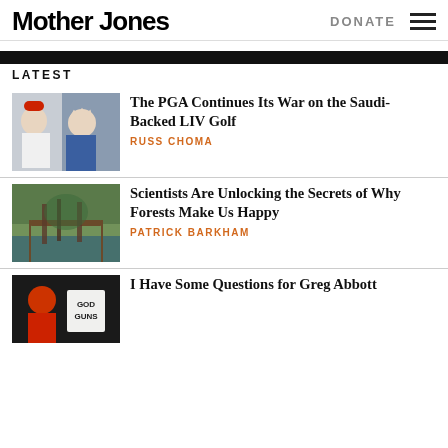Mother Jones
LATEST
[Figure (photo): Two people waving, one wearing a red cap]
The PGA Continues Its War on the Saudi-Backed LIV Golf
RUSS CHOMA
[Figure (photo): Wooden bridge over a reflective forest pond]
Scientists Are Unlocking the Secrets of Why Forests Make Us Happy
PATRICK BARKHAM
[Figure (photo): Person holding a sign reading GOD GUNS]
I Have Some Questions for Greg Abbott